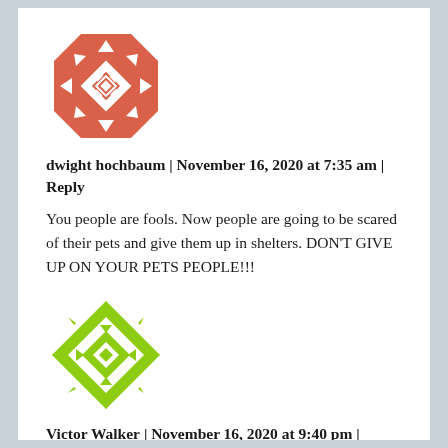[Figure (illustration): Coral/salmon colored geometric quilt-pattern avatar icon in octagon shape with arrow and diamond patterns]
dwight hochbaum | November 16, 2020 at 7:35 am | Reply
You people are fools. Now people are going to be scared of their pets and give them up in shelters. DON’T GIVE UP ON YOUR PETS PEOPLE!!!
[Figure (illustration): Lime green geometric quilt-pattern avatar icon with diamond and arrow patterns]
Victor Walker | November 16, 2020 at 9:40 pm | Reply